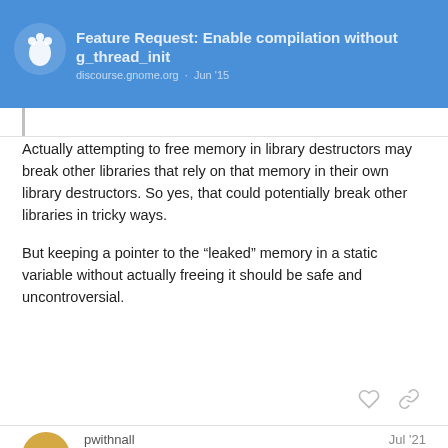Feature Request: Enable compilation without g_thread_init
Actually attempting to free memory in library destructors may break other libraries that rely on that memory in their own library destructors. So yes, that could potentially break other libraries in tricky ways.
But keeping a pointer to the “leaked” memory in a static variable without actually freeing it should be safe and uncontroversial.
pwithnall
Philip Withnall
GNOME Team
Jul ’21
mcatanzaro:
The first two of those points could be fixed by adding support a standard suppressions directory automatically, the than manually similar